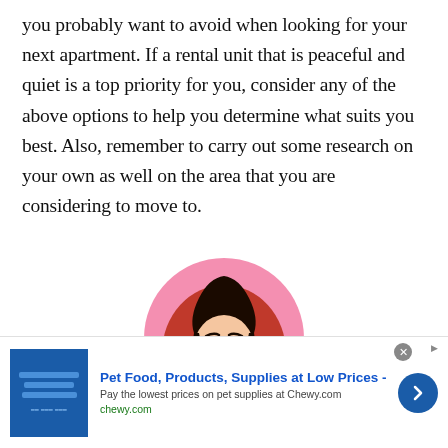you probably want to avoid when looking for your next apartment. If a rental unit that is peaceful and quiet is a top priority for you, consider any of the above options to help you determine what suits you best. Also, remember to carry out some research on your own as well on the area that you are considering to move to.
[Figure (illustration): Circular illustration of a young woman with long black hair wearing a white collared shirt, against a pink and red background circle.]
[Figure (other): Advertisement banner for Chewy.com: Pet Food, Products, Supplies at Low Prices - Pay the lowest prices on pet supplies at Chewy.com. chewy.com]